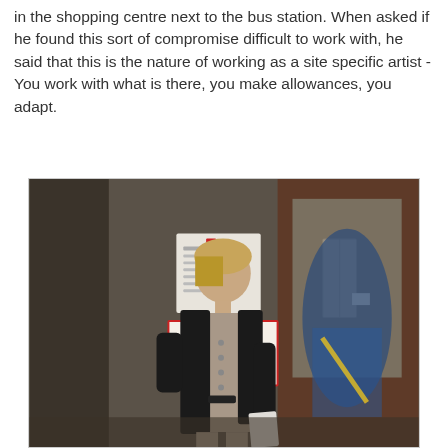in the shopping centre next to the bus station. When asked if he found this sort of compromise difficult to work with, he said that this is the nature of working as a site specific artist - You work with what is there, you make allowances, you adapt.
[Figure (photo): A young woman in a grey dress and dark cardigan stands in what appears to be a shopping centre corridor. Behind her is a glass door with a red and white WARNING sign with Reliance security branding and a phone number. The interior shows a lift/elevator lobby with brown walls.]